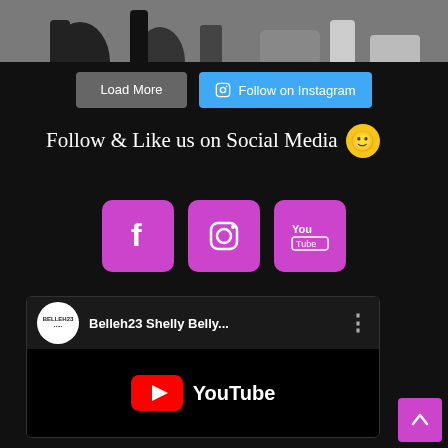[Figure (photo): Top partial image showing legs and feet of people on ground]
Load More
Follow on Instagram
Follow & Like us on Social Media 🙂
[Figure (infographic): Three purple square social media icons: Facebook, Instagram, YouTube]
[Figure (screenshot): YouTube embed widget showing Belleh23 Shelly Belly... channel with YouTube logo]
Back to top arrow button